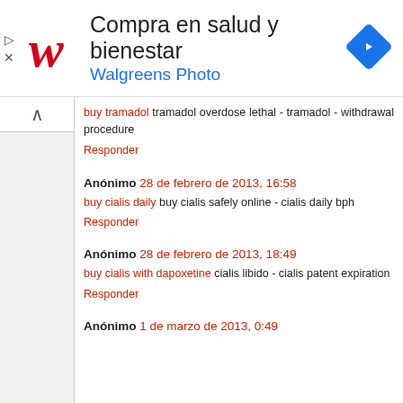[Figure (logo): Walgreens ad banner with logo, text 'Compra en salud y bienestar' and 'Walgreens Photo', and a blue navigation arrow icon]
buy tramadol tramadol overdose lethal - tramadol - withdrawal procedure
Responder
Anónimo 28 de febrero de 2013, 16:58
buy cialis daily buy cialis safely online - cialis daily bph
Responder
Anónimo 28 de febrero de 2013, 18:49
buy cialis with dapoxetine cialis libido - cialis patent expiration
Responder
Anónimo 1 de marzo de 2013, 0:49